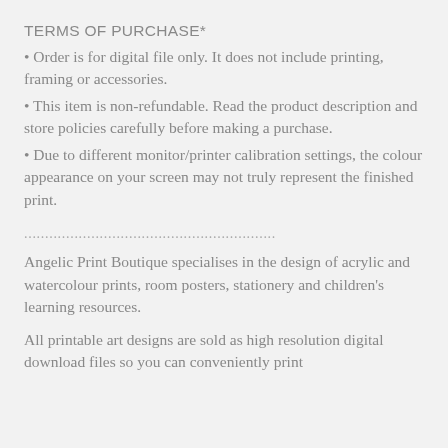TERMS OF PURCHASE*
Order is for digital file only. It does not include printing, framing or accessories.
This item is non-refundable. Read the product description and store policies carefully before making a purchase.
Due to different monitor/printer calibration settings, the colour appearance on your screen may not truly represent the finished print.
............................................................
Angelic Print Boutique specialises in the design of acrylic and watercolour prints, room posters, stationery and children’s learning resources.
All printable art designs are sold as high resolution digital download files so you can conveniently print